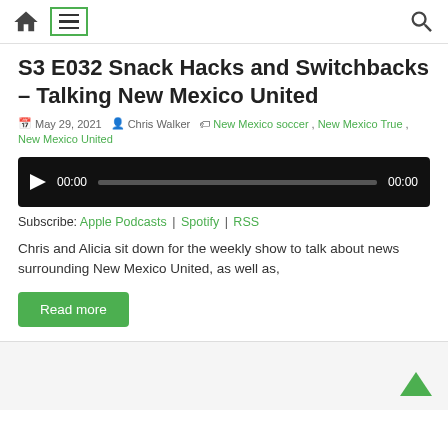Navigation bar with home icon, menu icon, and search icon
S3 E032 Snack Hacks and Switchbacks – Talking New Mexico United
May 29, 2021  Chris Walker  New Mexico soccer, New Mexico True, New Mexico United
[Figure (other): Audio player widget with play button, time display 00:00, progress bar, and end time 00:00]
Subscribe: Apple Podcasts | Spotify | RSS
Chris and Alicia sit down for the weekly show to talk about news surrounding New Mexico United, as well as,
Read more